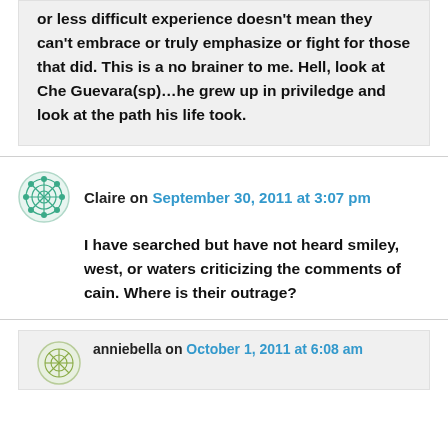or less difficult experience doesn't mean they can't embrace or truly emphasize or fight for those that did. This is a no brainer to me. Hell, look at Che Guevara(sp)…he grew up in priviledge and look at the path his life took.
Claire on September 30, 2011 at 3:07 pm
I have searched but have not heard smiley, west, or waters criticizing the comments of cain. Where is their outrage?
anniebella on October 1, 2011 at 6:08 am